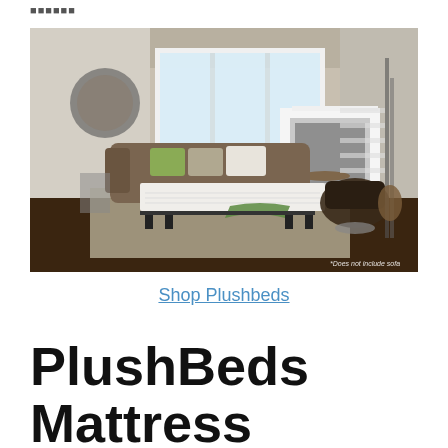■■■■■■
[Figure (photo): Interior room photo showing a sleeper sofa bed open with white mattress, green throw blanket, patterned pillows, in a bright living room with fireplace and staircase. Watermark reads '*Does not include sofa']
Shop Plushbeds
PlushBeds Mattress Revie...